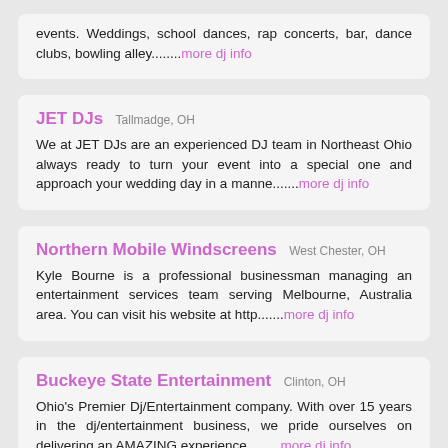events. Weddings, school dances, rap concerts, bar, dance clubs, bowling alley........more dj info
JET DJs  Tallmadge, OH
We at JET DJs are an experienced DJ team in Northeast Ohio always ready to turn your event into a special one and approach your wedding day in a manne.......more dj info
Northern Mobile Windscreens  West Chester, OH
Kyle Bourne is a professional businessman managing an entertainment services team serving Melbourne, Australia area. You can visit his website at http.......more dj info
Buckeye State Entertainment  Clinton, OH
Ohio's Premier Dj/Entertainment company. With over 15 years in the dj/entertainment business, we pride ourselves on delivering an AMAZING experience, .......more dj info